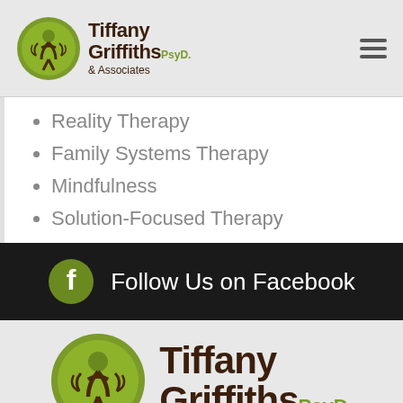[Figure (logo): Tiffany Griffiths PsyD & Associates logo with green circle icon and brown/green text in page header]
Reality Therapy
Family Systems Therapy
Mindfulness
Solution-Focused Therapy
[Figure (logo): Facebook icon circle with Follow Us on Facebook text on black bar]
[Figure (logo): Tiffany Griffiths PsyD logo large in footer area on grey background]